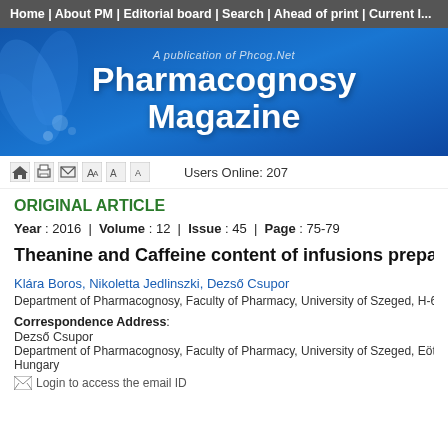Home | About PM | Editorial board | Search | Ahead of print | Current I...
[Figure (illustration): Pharmacognosy Magazine banner with blue floral design and text 'A publication of Phcog.Net, Pharmacognosy Magazine']
ORIGINAL ARTICLE
Year : 2016 | Volume : 12 | Issue : 45 | Page : 75-79
Theanine and Caffeine content of infusions prepare...
Klára Boros, Nikoletta Jedlinszki, Dezső Csupor
Department of Pharmacognosy, Faculty of Pharmacy, University of Szeged, H-6720 Szege...
Correspondence Address:
Dezső Csupor
Department of Pharmacognosy, Faculty of Pharmacy, University of Szeged, Eötvös Street...
Hungary
Login to access the email ID